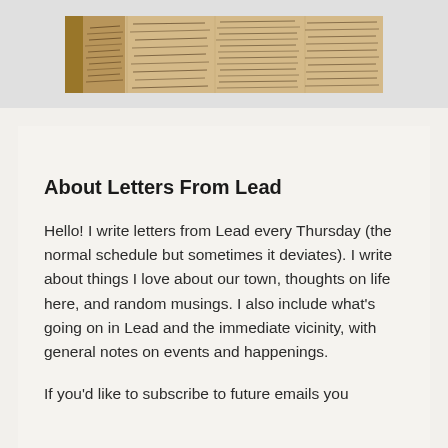[Figure (photo): Photograph of old handwritten letters and manuscripts with cursive script on aged/yellowed paper]
About Letters From Lead
Hello! I write letters from Lead every Thursday (the normal schedule but sometimes it deviates). I write about things I love about our town, thoughts on life here, and random musings. I also include what's going on in Lead and the immediate vicinity, with general notes on events and happenings.
If you'd like to subscribe to future emails you